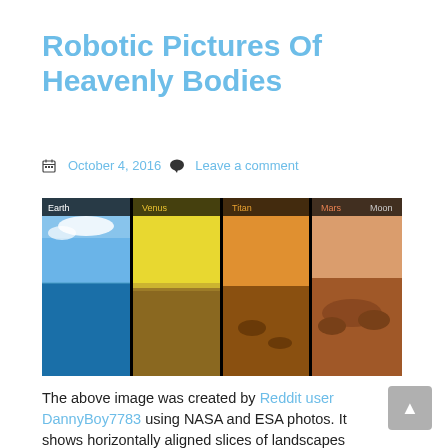Robotic Pictures Of Heavenly Bodies
October 4, 2016   Leave a comment
[Figure (photo): Composite image showing horizontally aligned slices of landscapes from different heavenly bodies: Earth, Venus, Titan, Mars, Moon, Itokawa, 67P, against a black background]
The above image was created by Reddit user DannyBoy7783 using NASA and ESA photos. It shows horizontally aligned slices of landscapes